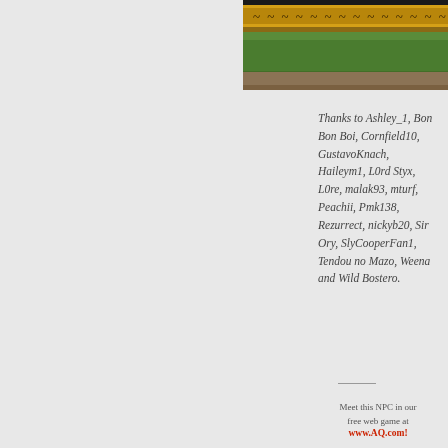[Figure (screenshot): Game screenshot showing a decorative golden border/banner at top with green field and brown ground below, partial view of a character or NPC scene from AQ (AdventureQuest) web game.]
Thanks to Ashley_1, Bon Bon Boi, Cornfield10, GustavoKnach, Haileym1, L0rd Styx, L0re, malak93, mturf, Peachii, Pmk138, Rezurrect, nickyb20, Sir Ory, SlyCooperFan1, Tendou no Mazo, Weena and Wild Bostero.
Meet this NPC in our free web game at www.AQ.com!